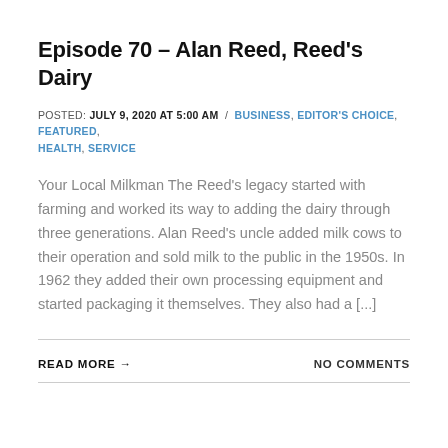Episode 70 – Alan Reed, Reed's Dairy
POSTED: JULY 9, 2020 AT 5:00 AM / BUSINESS, EDITOR'S CHOICE, FEATURED, HEALTH, SERVICE
Your Local Milkman The Reed's legacy started with farming and worked its way to adding the dairy through three generations. Alan Reed's uncle added milk cows to their operation and sold milk to the public in the 1950s. In 1962 they added their own processing equipment and started packaging it themselves. They also had a [...]
READ MORE → NO COMMENTS